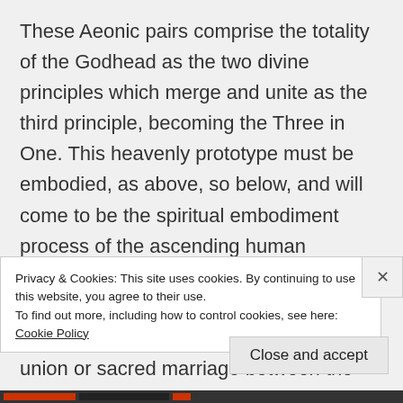These Aeonic pairs comprise the totality of the Godhead as the two divine principles which merge and unite as the third principle, becoming the Three in One. This heavenly prototype must be embodied, as above, so below, and will come to be the spiritual embodiment process of the ascending human experience. The spiritual completion which unites the Aeonic pair is the resulting state of Krystal hierogamic union or sacred marriage between the male and female principle with the Godhead. The
Privacy & Cookies: This site uses cookies. By continuing to use this website, you agree to their use.
To find out more, including how to control cookies, see here: Cookie Policy
Close and accept